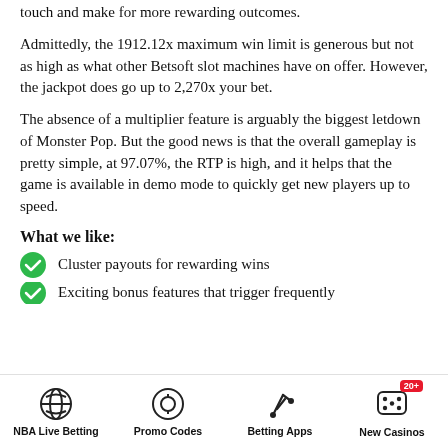touch and make for more rewarding outcomes.
Admittedly, the 1912.12x maximum win limit is generous but not as high as what other Betsoft slot machines have on offer. However, the jackpot does go up to 2,270x your bet.
The absence of a multiplier feature is arguably the biggest letdown of Monster Pop. But the good news is that the overall gameplay is pretty simple, at 97.07%, the RTP is high, and it helps that the game is available in demo mode to quickly get new players up to speed.
What we like:
Cluster payouts for rewarding wins
Exciting bonus features that trigger frequently
NBA Live Betting | Promo Codes | Betting Apps | New Casinos